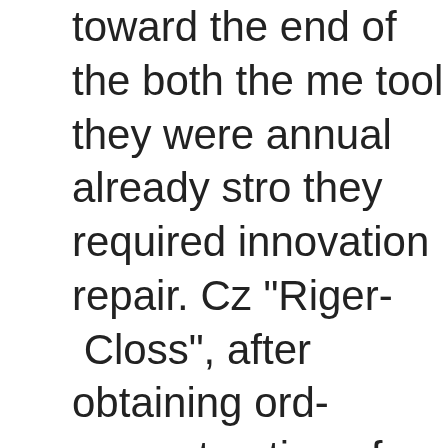toward the end of the both the me tool they were annual already stro they required innovation repair. Cz "Riger- Closs", after obtaining orde reconstruction of organ for purely motives, proposed the project, wh changed the sonic means of tool. Unfortunately, it was affirmed by c which consisted of the Soviet orga others it was municipal the countr